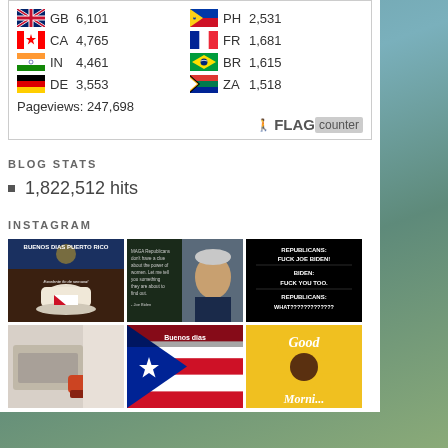[Figure (other): Flag counter widget showing country flags with codes and visit counts: GB 6,101; PH 2,531; CA 4,765; FR 1,681; IN 4,461; BR 1,615; DE 3,553; ZA 1,518. Pageviews: 247,698. FLAG counter logo at bottom.]
BLOG STATS
1,822,512 hits
INSTAGRAM
[Figure (photo): Instagram image 1: Buenos Dias Puerto Rico - coffee cup with Puerto Rico flag, text 'Excelente fin de semana!']
[Figure (photo): Instagram image 2: Joe Biden photo with text about MAGA Republicans not having a clue about the power of women]
[Figure (photo): Instagram image 3: Text meme - REPUBLICANS: FUCK JOE BIDEN! BIDEN: FUCK YOU TOO. REPUBLICANS: WHAT?????????????]
[Figure (photo): Instagram image 4: Exercise equipment / gym photo]
[Figure (photo): Instagram image 5: Buenos dias with Puerto Rico flag]
[Figure (photo): Instagram image 6: Good Morning with sunflower]